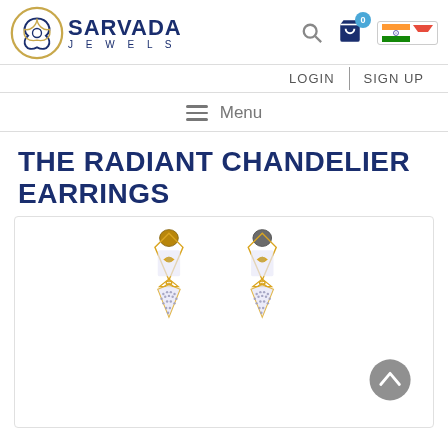[Figure (logo): Sarvada Jewels logo with Celtic triquetra symbol and brand name]
LOGIN  SIGN UP
≡  Menu
THE RADIANT CHANDELIER EARRINGS
[Figure (photo): Two gold chandelier earrings with diamond studding, shown side by side on white background]